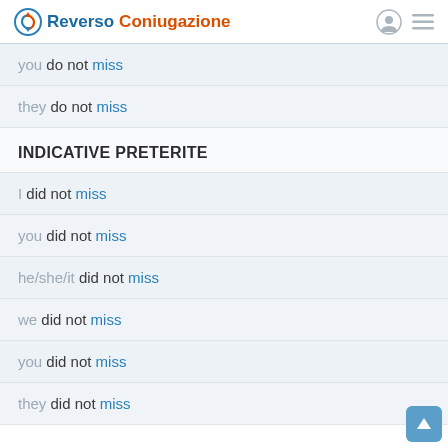Reverso Coniugazione
you do not miss
they do not miss
INDICATIVE PRETERITE
I did not miss
you did not miss
he/she/it did not miss
we did not miss
you did not miss
they did not miss